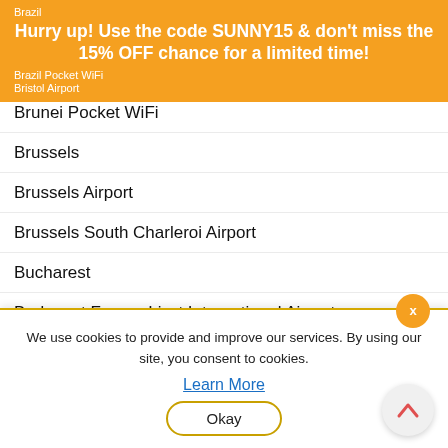Brazil
Hurry up! Use the code SUNNY15 & don't miss the 15% OFF chance for a limited time!
Brazil Pocket WiFi
Bristol Airport
Brunei Pocket WiFi
Brussels
Brussels Airport
Brussels South Charleroi Airport
Bucharest
Budapest Ferenc Liszt International Airport
Buenos Aires
Bulgaria Pocket WiFi
Buy ITB Berlin Tickets Now : https://www.itb-convention.com/Program/Tickets/
We use cookies to provide and improve our services. By using our site, you consent to cookies.
Learn More
Okay